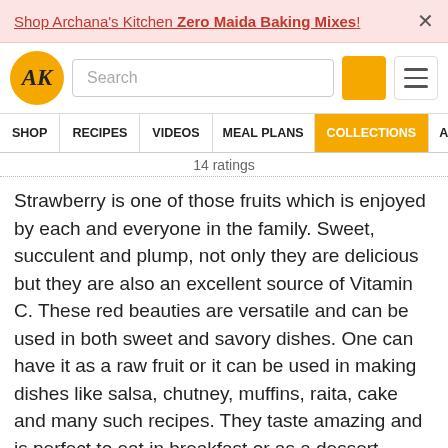Shop Archana's Kitchen Zero Maida Baking Mixes!
14 ratings
Strawberry is one of those fruits which is enjoyed by each and everyone in the family. Sweet, succulent and plump, not only they are delicious but they are also an excellent source of Vitamin C. These red beauties are versatile and can be used in both sweet and savory dishes. One can have it as a raw fruit or it can be used in making dishes like salsa, chutney, muffins, raita, cake and many such recipes. They taste amazing and is perfect to eat in breakfast or as a dessert.
They can be even used as a substitute to tomatoes. For